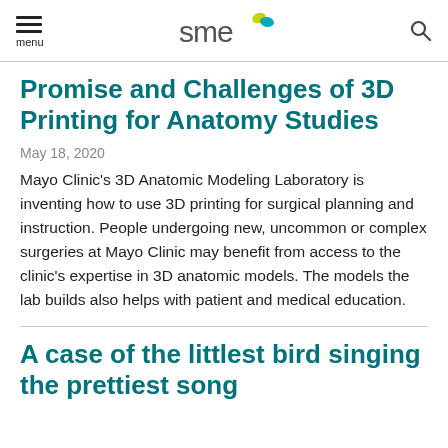menu | SME logo | search
Promise and Challenges of 3D Printing for Anatomy Studies
May 18, 2020
Mayo Clinic's 3D Anatomic Modeling Laboratory is inventing how to use 3D printing for surgical planning and instruction. People undergoing new, uncommon or complex surgeries at Mayo Clinic may benefit from access to the clinic's expertise in 3D anatomic models. The models the lab builds also helps with patient and medical education.
A case of the littlest bird singing the prettiest song